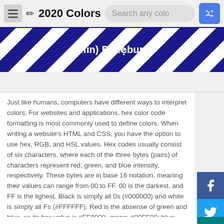2020 Colors
[Figure (illustration): Blue and white diagonal stripe banner with partial text visible]
Just like humans, computers have different ways to interpret colors. For websites and applications, hex color code formatting is most commonly used to define colors. When writing a website's HTML and CSS, you have the option to use hex, RGB, and HSL values. Hex codes usually consist of six characters, where each of the three bytes (pairs) of characters represent red, green, and blue intensity, respectively. These bytes are in base 16 notation, meaning their values can range from 00 to FF. 00 is the darkest, and FF is the lightest. Black is simply all 0s (#000000) and white is simply all Fs (#FFFFFF). Red is the absense of green and blue, so its hex value is #FF0000; green: #00FF00; blue: #0000FF.